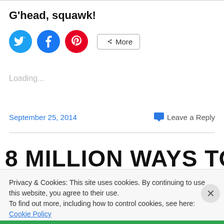G'head, squawk!
[Figure (infographic): Social sharing buttons: Twitter (blue circle), Facebook (blue circle), Pinterest (red circle), and a More button with share icon]
Loading...
September 25, 2014
Leave a Reply
8 MILLION WAYS TO DIE (1986)
Privacy & Cookies: This site uses cookies. By continuing to use this website, you agree to their use.
To find out more, including how to control cookies, see here: Cookie Policy
Close and accept